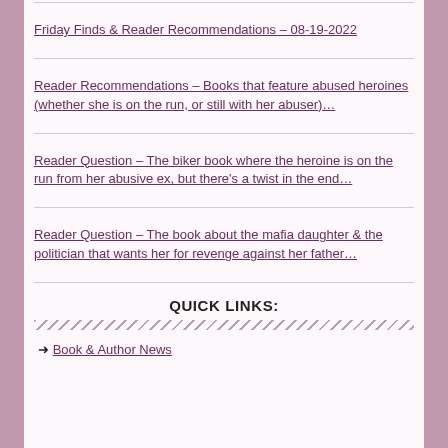Friday Finds & Reader Recommendations – 08-19-2022
Reader Recommendations – Books that feature abused heroines (whether she is on the run, or still with her abuser)…
Reader Question – The biker book where the heroine is on the run from her abusive ex, but there's a twist in the end…
Reader Question – The book about the mafia daughter & the politician that wants her for revenge against her father…
QUICK LINKS:
→ Book & Author News